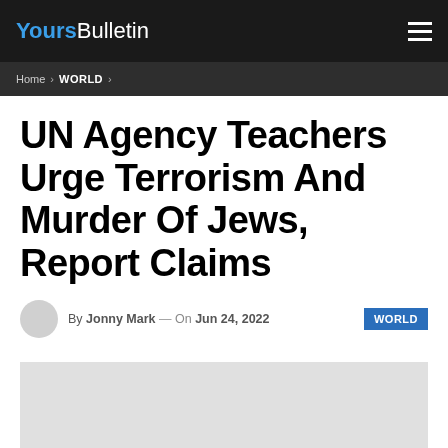YoursBulletin
Home > WORLD >
UN Agency Teachers Urge Terrorism And Murder Of Jews, Report Claims
By Jonny Mark — On Jun 24, 2022  WORLD
[Figure (photo): Image placeholder / article photo (light gray rectangle)]